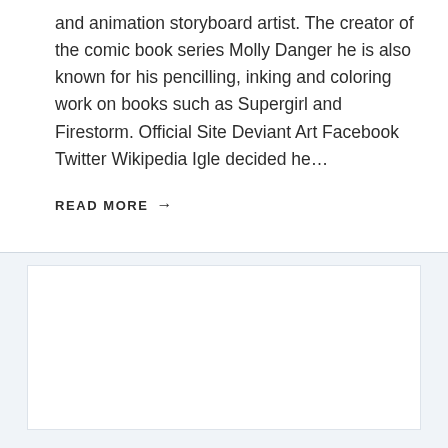and animation storyboard artist. The creator of the comic book series Molly Danger he is also known for his pencilling, inking and coloring work on books such as Supergirl and Firestorm. Official Site Deviant Art Facebook Twitter Wikipedia Igle decided he…
READ MORE →